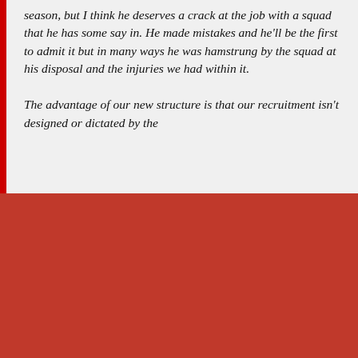season, but I think he deserves a crack at the job with a squad that he has some say in. He made mistakes and he'll be the first to admit it but in many ways he was hamstrung by the squad at his disposal and the injuries we had within it.

The advantage of our new structure is that our recruitment isn't designed or dictated by the
close ×
Sign up for the Roker Report Daily Roundup newsletter!
A daily roundup of Sunderland news from Roker Report
Email (required)
SUBSCRIBE
By submitting your email, you agree to our Terms and Privacy Notice. You can opt out at any time. This site is protected by reCAPTCHA and the Google Privacy Policy and Terms of Service apply.